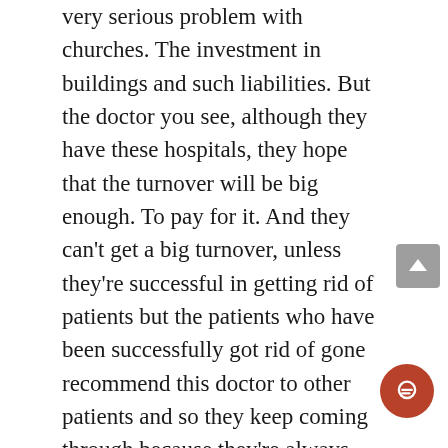very serious problem with churches. The investment in buildings and such liabilities. But the doctor you see, although they have these hospitals, they hope that the turnover will be big enough. To pay for it. And they can't get a big turnover, unless they're successful in getting rid of patients but the patients who have been successfully got rid of gone recommend this doctor to other patients and so they keep coming through because they're always sick people. And the Hindu in a way and especially the Buddhist take very much this view of religion. Religion is not something to get hooked up on. A person hung up on religion or hung up on yoga is felt to be still in bondage. So yoga is to get rid of yoga. And come to the final state here called Nirvikalpa, all is done, we come to the